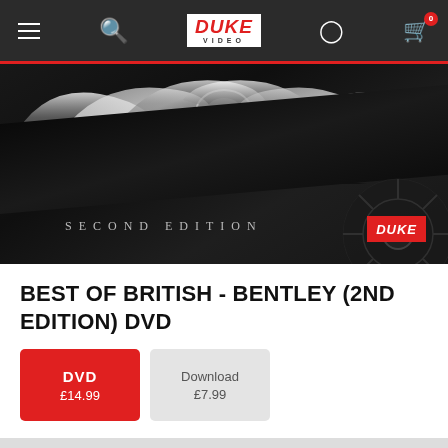Duke Video navigation bar with hamburger menu, search, Duke Video logo, account icon, and cart (0 items)
[Figure (photo): Dark product image showing chrome Bentley ornament details with 'SECOND EDITION' text and Duke logo badge, with dark wheel/hex pattern on right side]
BEST OF BRITISH - BENTLEY (2ND EDITION) DVD
DVD £14.99
Download £7.99